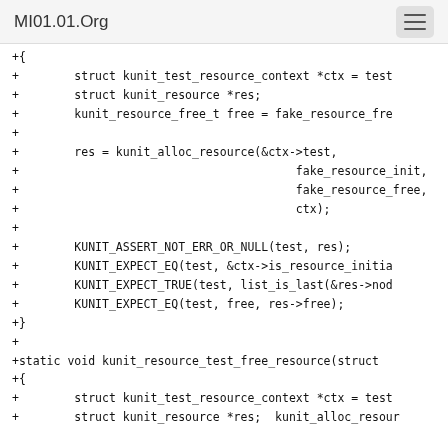MI01.01.Org
+{
+        struct kunit_test_resource_context *ctx = test
+        struct kunit_resource *res;
+        kunit_resource_free_t free = fake_resource_fre
+
+        res = kunit_alloc_resource(&ctx->test,
+                                        fake_resource_init,
+                                        fake_resource_free,
+                                        ctx);
+
+        KUNIT_ASSERT_NOT_ERR_OR_NULL(test, res);
+        KUNIT_EXPECT_EQ(test, &ctx->is_resource_initia
+        KUNIT_EXPECT_TRUE(test, list_is_last(&res->nod
+        KUNIT_EXPECT_EQ(test, free, res->free);
+}
+
+static void kunit_resource_test_free_resource(struct
+{
+        struct kunit_test_resource_context *ctx = test
+        struct kunit_resource *res; kunit_alloc_resour